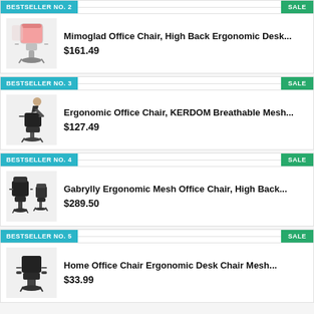BESTSELLER NO. 2
SALE
[Figure (photo): Pink and white ergonomic office chair with headrest]
Mimoglad Office Chair, High Back Ergonomic Desk...
$161.49
BESTSELLER NO. 3
SALE
[Figure (photo): Black ergonomic office chair, person sitting]
Ergonomic Office Chair, KERDOM Breathable Mesh...
$127.49
BESTSELLER NO. 4
SALE
[Figure (photo): Black ergonomic mesh office chair with headrest, two views]
Gabrylly Ergonomic Mesh Office Chair, High Back...
$289.50
BESTSELLER NO. 5
SALE
[Figure (photo): Black mesh home office chair with armrests]
Home Office Chair Ergonomic Desk Chair Mesh...
$33.99